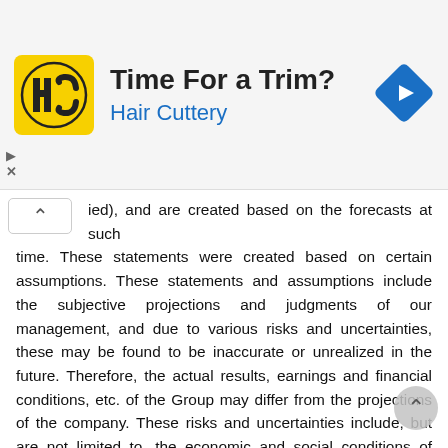[Figure (advertisement): Hair Cuttery advertisement banner with yellow logo, 'Time For a Trim?' title, and navigation icon]
ied), and are created based on the forecasts at such time. These statements were created based on certain assumptions. These statements and assumptions include the subjective projections and judgments of our management, and due to various risks and uncertainties, these may be found to be inaccurate or unrealized in the future. Therefore, the actual results, earnings and financial conditions, etc. of the Group may differ from the projections of the company. These risks and uncertainties include, but are not limited to, the economic and social conditions of Japan and other countries and regions, soaring fuel costs, changes in the exchange rates between the yen and the dollar or other currencies, terrorist attacks or wars, infectious disease outbreaks, and various other risks related to the aviation business. Statements on this contents regarding future information are, as mentioned above, valid at the time of creation (or as otherwise specified), and our company has no obligation to ensure